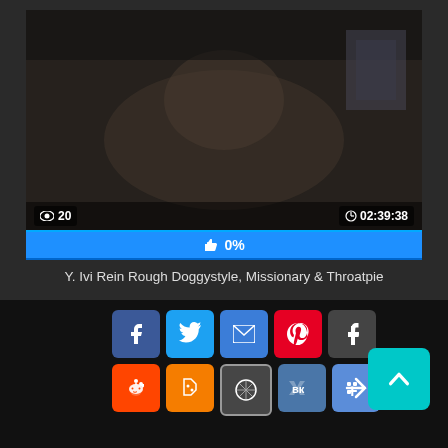[Figure (screenshot): Video thumbnail showing adults on a bed, dark room setting]
👁 20   🕐 02:39:38
👍 0%
Y. Ivi Rein Rough Doggystyle, Missionary & Throatpie
[Figure (infographic): Social sharing buttons: Facebook, Twitter, Email, Pinterest, Tumblr, Reddit, Blogger, WordPress, VK, More. Scroll-to-top button.]